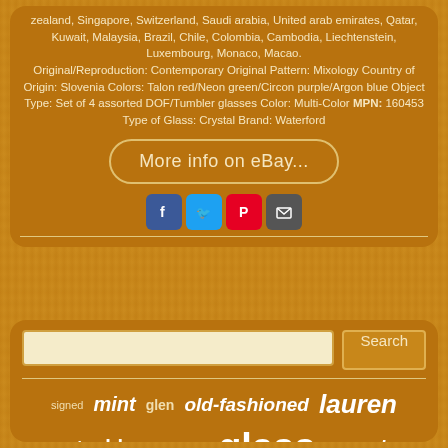zealand, Singapore, Switzerland, Saudi arabia, United arab emirates, Qatar, Kuwait, Malaysia, Brazil, Chile, Colombia, Cambodia, Liechtenstein, Luxembourg, Monaco, Macao. Original/Reproduction: Contemporary Original Pattern: Mixology Country of Origin: Slovenia Colors: Talon red/Neon green/Circon purple/Argon blue Object Type: Set of 4 assorted DOF/Tumbler glasses Color: Multi-Color MPN: 160453 Type of Glass: Crystal Brand: Waterford
[Figure (other): eBay link button with text 'More info on eBay...' styled as a rounded rectangle button]
[Figure (other): Social media share icons: Facebook (blue), Twitter (light blue), Pinterest (red), Email (gray)]
Search input field with Search button
signed
mint
glen
old-fashioned
lauren
rocks
blue
colleen
glass
marquis
double